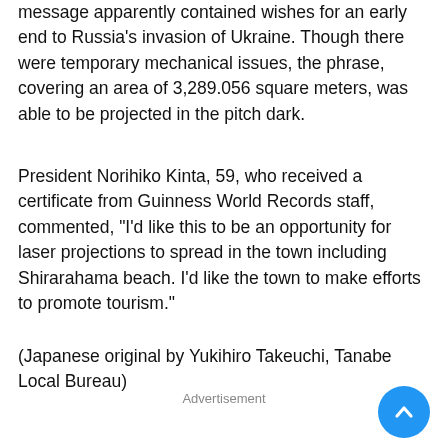message apparently contained wishes for an early end to Russia's invasion of Ukraine. Though there were temporary mechanical issues, the phrase, covering an area of 3,289.056 square meters, was able to be projected in the pitch dark.
President Norihiko Kinta, 59, who received a certificate from Guinness World Records staff, commented, "I'd like this to be an opportunity for laser projections to spread in the town including Shirarahama beach. I'd like the town to make efforts to promote tourism."
(Japanese original by Yukihiro Takeuchi, Tanabe Local Bureau)
Advertisement